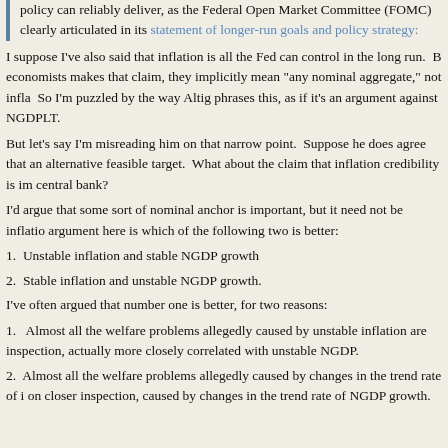policy can reliably deliver, as the Federal Open Market Committee (FOMC) clearly articulated in its statement of longer-run goals and policy strategy:
I suppose I've also said that inflation is all the Fed can control in the long run. But when an economist makes that claim, they implicitly mean "any nominal aggregate," not inflation per se. So I'm puzzled by the way Altig phrases this, as if it's an argument against NGDPLT.
But let's say I'm misreading him on that narrow point. Suppose he does agree that NGDP is an alternative feasible target. What about the claim that inflation credibility is important for a central bank?
I'd argue that some sort of nominal anchor is important, but it need not be inflation. The real argument here is which of the following two is better:
1.  Unstable inflation and stable NGDP growth
2.  Stable inflation and unstable NGDP growth.
I've often argued that number one is better, for two reasons:
1. Almost all the welfare problems allegedly caused by unstable inflation are, on closer inspection, actually more closely correlated with unstable NGDP.
2. Almost all the welfare problems allegedly caused by changes in the trend rate of inflation are, on closer inspection, caused by changes in the trend rate of NGDP growth.